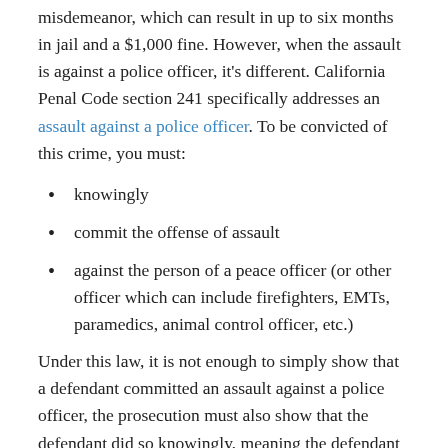misdemeanor, which can result in up to six months in jail and a $1,000 fine. However, when the assault is against a police officer, it's different. California Penal Code section 241 specifically addresses an assault against a police officer. To be convicted of this crime, you must:
knowingly
commit the offense of assault
against the person of a peace officer (or other officer which can include firefighters, EMTs, paramedics, animal control officer, etc.)
Under this law, it is not enough to simply show that a defendant committed an assault against a police officer, the prosecution must also show that the defendant did so knowingly, meaning the defendant actually knew (or should have known) they were